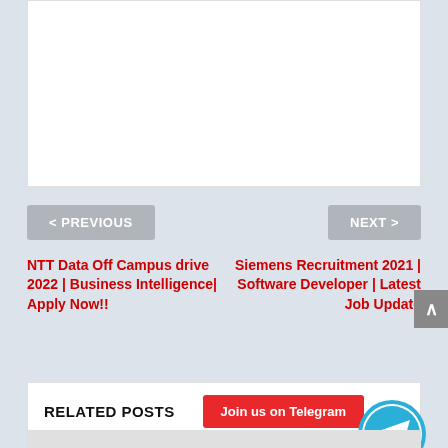[Figure (other): White content box area at the top of the page]
< PREVIOUS
NEXT >
NTT Data Off Campus drive 2022 | Business Intelligence| Apply Now!!
Siemens Recruitment 2021 | Software Developer | Latest Job Update
RELATED POSTS
Join us on Telegram